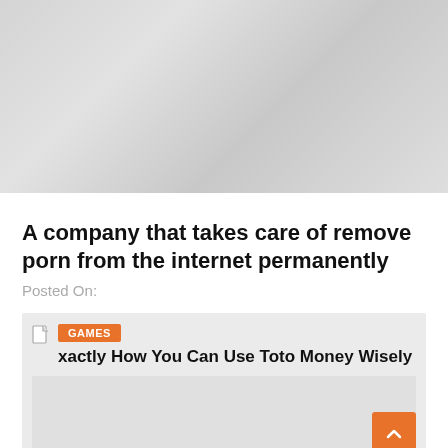[Figure (photo): Large gray placeholder image at top of page]
A company that takes care of remove porn from the internet permanently
Posted On:
[Figure (screenshot): Related article card with GAMES badge, file icon, and title 'Exactly How You Can Use Toto Money Wisely', with gray image placeholder and orange scroll-to-top button in bottom right]